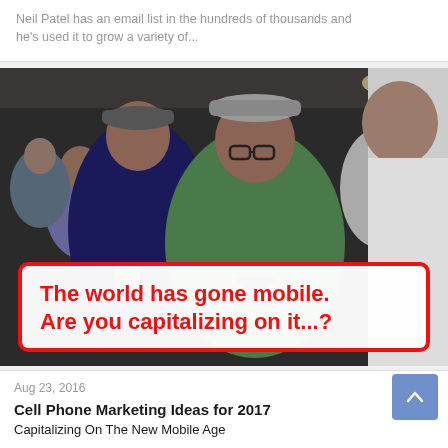Neil Patel has an email list in the hundreds of thousands and he's used it to grow a variety of...
[Figure (photo): People seated in an audience, several looking at their phones. Center person wears green polo and grey cap. Left person wears dark blue shirt and grey cap. Right person in white shirt.]
The world has gone mobile. Are you capitalizing on it...?
Aug 23, 2016
Cell Phone Marketing Ideas for 2017
Capitalizing On The New Mobile Age